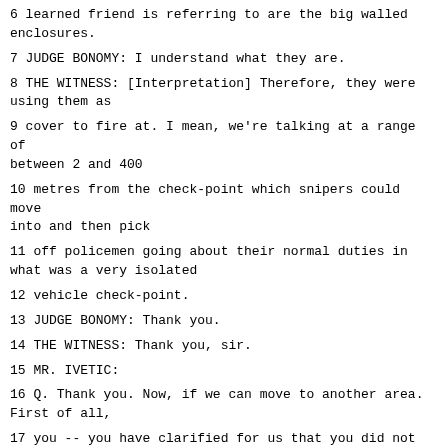6 learned friend is referring to are the big walled enclosures.
7 JUDGE BONOMY: I understand what they are.
8 THE WITNESS: [Interpretation] Therefore, they were using them as
9 cover to fire at. I mean, we're talking at a range of between 2 and 400
10 metres from the check-point which snipers could move into and then pick
11 off policemen going about their normal duties in what was a very isolated
12 vehicle check-point.
13 JUDGE BONOMY: Thank you.
14 THE WITNESS: Thank you, sir.
15 MR. IVETIC:
16 Q. Thank you. Now, if we can move to another area. First of all,
17 you -- you have clarified for us that you did not personally eyewitness
18 the action undertaken to liberate Malisevo from the